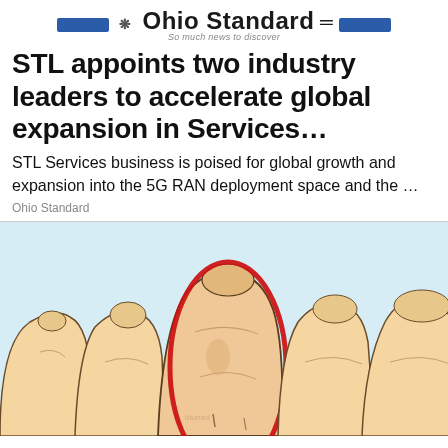Ohio Standard — So much news to discover
STL appoints two industry leaders to accelerate global expansion in Services...
STL Services business is poised for global growth and expansion into the 5G RAN deployment space and the …
Ohio Standard
[Figure (illustration): Medical illustration of toes, with the second toe circled in red, suggesting a foot health condition.]